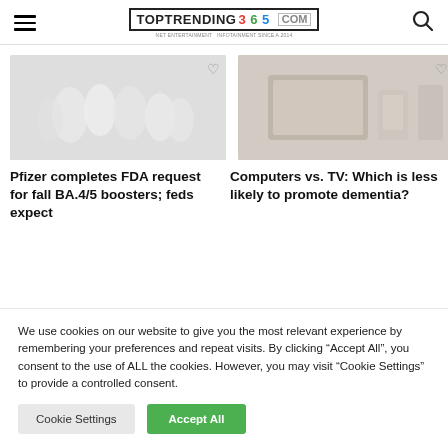TOPTRENDING365.COM
[Figure (photo): Photo of medicine vials/bottles in light grey tones]
[Figure (photo): Photo of computer/TV setup in home environment]
Pfizer completes FDA request for fall BA.4/5 boosters; feds expect
Computers vs. TV: Which is less likely to promote dementia?
We use cookies on our website to give you the most relevant experience by remembering your preferences and repeat visits. By clicking “Accept All”, you consent to the use of ALL the cookies. However, you may visit “Cookie Settings” to provide a controlled consent.